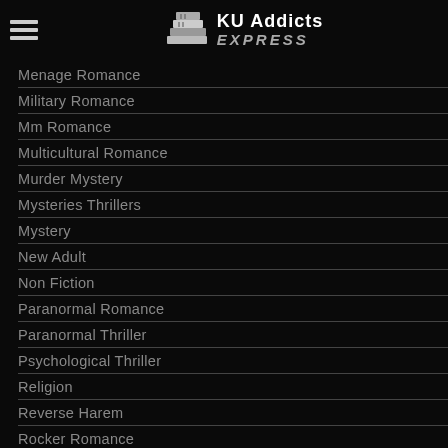KU Addicts EXPRESS
Menage Romance
Military Romance
Mm Romance
Multicultural Romance
Murder Mystery
Mysteries Thrillers
Mystery
New Adult
Non Fiction
Paranormal Romance
Paranormal Thriller
Psychological Thriller
Religion
Reverse Harem
Rocker Romance
Romance
Romantic Comedy